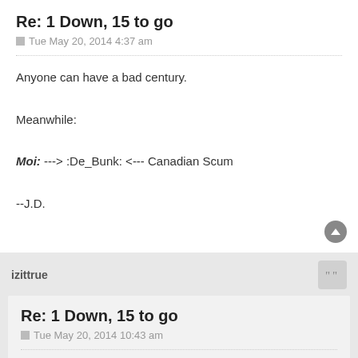Re: 1 Down, 15 to go
Tue May 20, 2014 4:37 am
Anyone can have a bad century.

Meanwhile:

Moi: ---> :De_Bunk: <--- Canadian Scum

--J.D.
izittrue
Re: 1 Down, 15 to go
Tue May 20, 2014 10:43 am
I am a Cubs fan. Wait till next century.